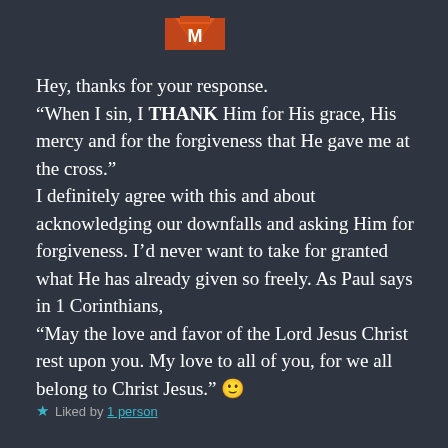[Figure (logo): Orange and red logo/icon in top center area]
Hey, thanks for your response.
“When I sin, I THANK Him for His grace, His mercy and for the forgiveness that He gave me at the cross.”
I definitely agree with this and about acknowledging our downfalls and asking Him for forgiveness. I’d never want to take for granted what He has already given so freely. As Paul says in 1 Corinthians,
“May the love and favor of the Lord Jesus Christ rest upon you. My love to all of you, for we all belong to Christ Jesus.” 🙂
★ Liked by 1 person